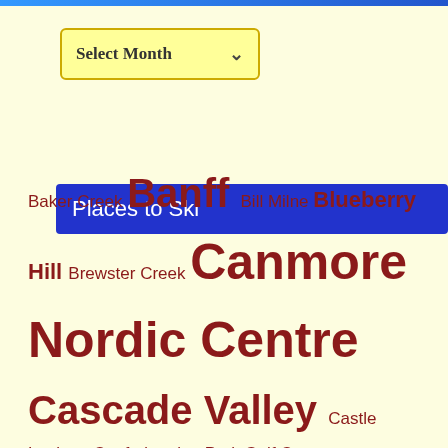[Figure (other): Top decorative blue gradient bar]
[Figure (other): Yellow dropdown selector labeled 'Select Month' with a down arrow]
Places to Ski
Baker Creek Banff Bill Milne Blueberry Hill Brewster Creek Canmore Nordic Centre Cascade Valley Castle Lookout Confederation Park Golf Course Dog-friendly Elk Pass Emerald Lake Evan-Thomas Frozen thunder Goat Creek Golden Great Divide Hawkridge Healy Creek Hydroline Kananaskis Kananaskis Fire Lookout Kananaskis Village Lake Louise Lake O'Hara fire road Moraine Lake road Mt Shark Nipika